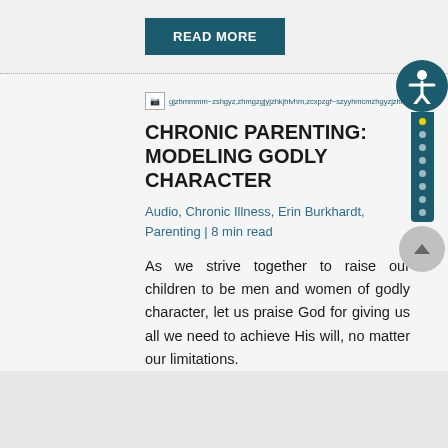READ MORE
[Figure (other): Broken image placeholder with long URL/alt text in teal color]
CHRONIC PARENTING: MODELING GODLY CHARACTER
Audio, Chronic Illness, Erin Burkhardt, Parenting | 8 min read
As we strive together to raise our children to be men and women of godly character, let us praise God for giving us all we need to achieve His will, no matter our limitations.